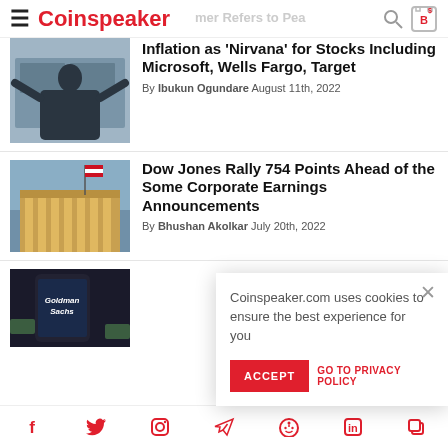Coinspeaker
[Figure (photo): Person with arms raised, TV studio background]
Inflation as 'Nirvana' for Stocks Including Microsoft, Wells Fargo, Target
By Ibukun Ogundare August 11th, 2022
[Figure (photo): Classic building with columns, American flag, Wall Street / NYSE style]
Dow Jones Rally 754 Points Ahead of the Some Corporate Earnings Announcements
By Bhushan Akolkar July 20th, 2022
[Figure (photo): Smartphone showing Goldman Sachs logo on screen]
Coinspeaker.com uses cookies to ensure the best experience for you
ACCEPT   GO TO PRIVACY POLICY